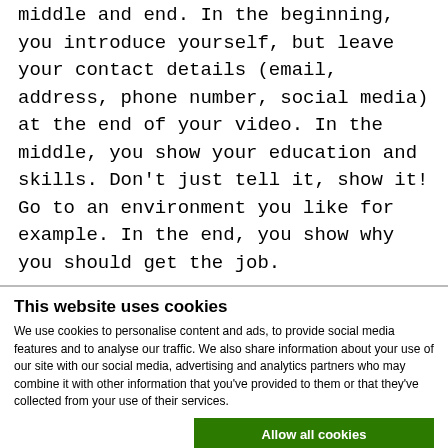middle and end. In the beginning, you introduce yourself, but leave your contact details (email, address, phone number, social media) at the end of your video. In the middle, you show your education and skills. Don't just tell it, show it! Go to an environment you like for example. In the end, you show why you should get the job.
This website uses cookies
We use cookies to personalise content and ads, to provide social media features and to analyse our traffic. We also share information about your use of our site with our social media, advertising and analytics partners who may combine it with other information that you've provided to them or that they've collected from your use of their services.
Allow all cookies
Allow selection
Use necessary cookies only
Necessary  Preferences  Statistics  Marketing  Show details